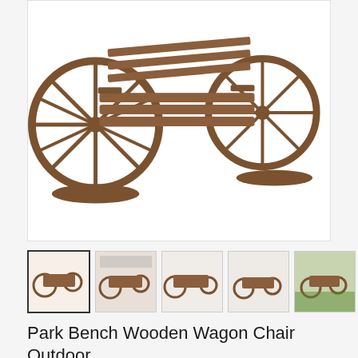[Figure (photo): Close-up photo of a wooden wagon wheel park bench with brown/dark wood finish, showing wagon wheels as the bench sides against a white background.]
[Figure (photo): Thumbnail row of 7 product images showing a Park Bench Wooden Wagon Chair Outdoor from various angles and settings.]
Park Bench Wooden Wagon Chair Outdoor
Save $206.01